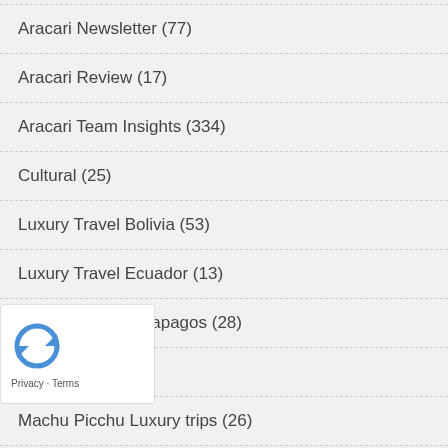Aracari Newsletter (77)
Aracari Review (17)
Aracari Team Insights (334)
Cultural (25)
Luxury Travel Bolivia (53)
Luxury Travel Ecuador (13)
Luxury Travel Galapagos (28)
ravel Peru (468)
Machu Picchu Luxury trips (26)